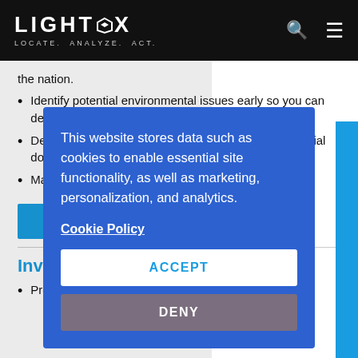LIGHTBOX LOCATE. ANALYZE. ACT.
the nation.
Identify potential environmental issues early so you can define future actions
Determine risks, evaluate properties and provide official docu…
Manage sm… underwrit… conventiona…
[Figure (screenshot): Cookie consent modal dialog with blue background. Text reads: 'This website stores data such as cookies to enable essential site functionality, as well as marketing, personalization, and analytics.' A 'Cookie Policy' link is shown, followed by ACCEPT and DENY buttons.]
Investors
Proven management tools and powerful data come